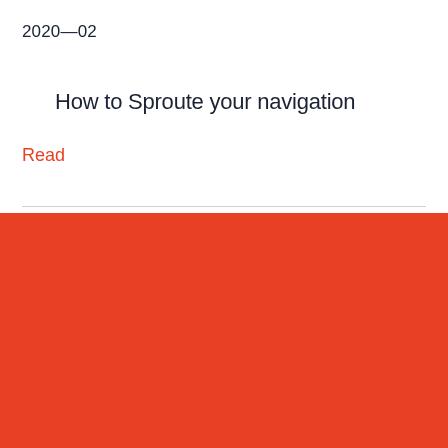2020—02
How to Sproute your navigation
Read
GOOD BYE MOVE LAB!
This website is now archived.
Thanks for the fun ride and see you soon. ♥
Got it!